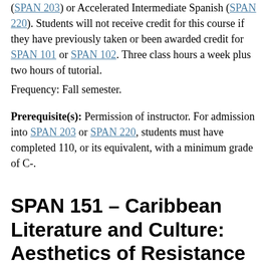(SPAN 203) or Accelerated Intermediate Spanish (SPAN 220). Students will not receive credit for this course if they have previously taken or been awarded credit for SPAN 101 or SPAN 102. Three class hours a week plus two hours of tutorial.
Frequency: Fall semester.
Prerequisite(s): Permission of instructor. For admission into SPAN 203 or SPAN 220, students must have completed 110, or its equivalent, with a minimum grade of C-.
SPAN 151 - Caribbean Literature and Culture: Aesthetics of Resistance